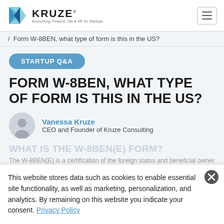KRUZE — Accounting, Finance, Tax & HR for Startups
/ Form W-8BEN, what type of form is this in the US?
STARTUP Q&A
FORM W-8BEN, WHAT TYPE OF FORM IS THIS IN THE US?
Vanessa Kruze
CEO and Founder of Kruze Consulting
WHAT IS THE W-8BEN(E) FORM?
This website stores data such as cookies to enable essential site functionality, as well as marketing, personalization, and analytics. By remaining on this website you indicate your consent. Privacy Policy
The W-8BEN(E) is a certification of the domestic... individuals and is liability protection for the company. The W-8BEN is for foreign individuals while the W-8BEN-E is for foreign